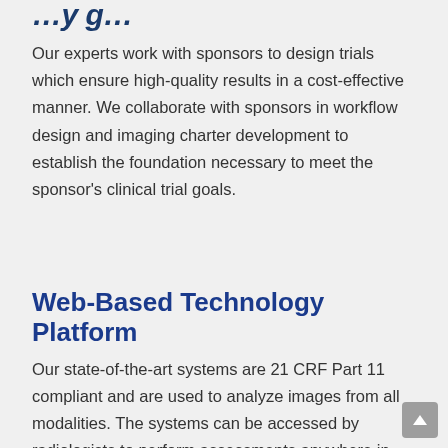…y g…
Our experts work with sponsors to design trials which ensure high-quality results in a cost-effective manner. We collaborate with sponsors in workflow design and imaging charter development to establish the foundation necessary to meet the sponsor's clinical trial goals.
Web-Based Technology Platform
Our state-of-the-art systems are 21 CRF Part 11 compliant and are used to analyze images from all modalities. The systems can be accessed by radiologists to perform assessments anywhere in